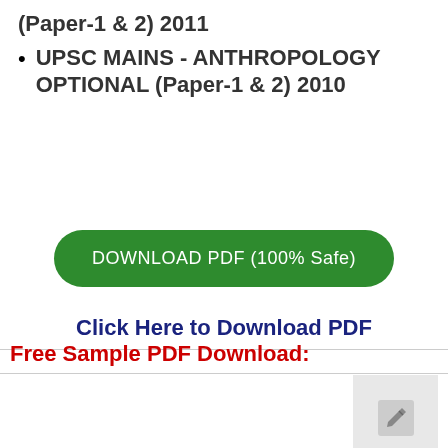(Paper-1 & 2) 2011
UPSC MAINS - ANTHROPOLOGY OPTIONAL (Paper-1 & 2) 2010
[Figure (other): Green rounded rectangle button with white text reading DOWNLOAD PDF (100% Safe)]
Click Here to Download PDF
Free Sample PDF Download:
[Figure (other): Small grey square image placeholder with a pencil/edit icon]